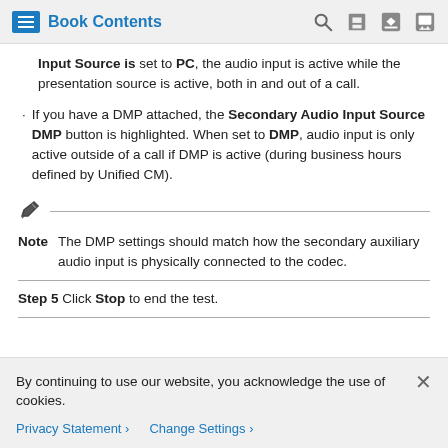Book Contents
Input Source is set to PC, the audio input is active while the presentation source is active, both in and out of a call.
If you have a DMP attached, the Secondary Audio Input Source DMP button is highlighted. When set to DMP, audio input is only active outside of a call if DMP is active (during business hours defined by Unified CM).
Note  The DMP settings should match how the secondary auxiliary audio input is physically connected to the codec.
Step 5 Click Stop to end the test.
By continuing to use our website, you acknowledge the use of cookies.
Privacy Statement > Change Settings >